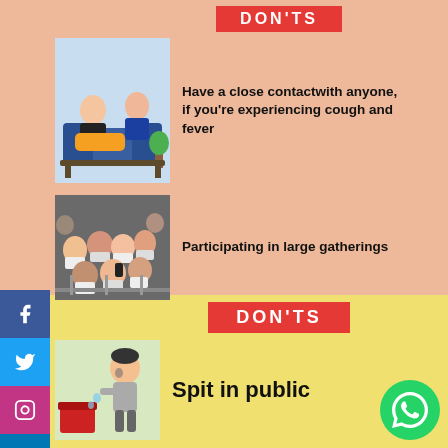DON'TS
Have a close contactwith anyone, if you're experiencing cough and fever
Participating in large gatherings
DON'TS
Spit in public